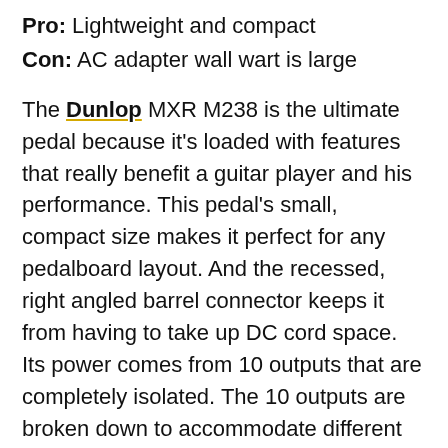Pro: Lightweight and compact
Con: AC adapter wall wart is large
The Dunlop MXR M238 is the ultimate pedal because it's loaded with features that really benefit a guitar player and his performance. This pedal's small, compact size makes it perfect for any pedalboard layout. And the recessed, right angled barrel connector keeps it from having to take up DC cord space. Its power comes from 10 outputs that are completely isolated. The 10 outputs are broken down to accommodate different types of current and voltage variations. The outputs include: 2 – 9 volt at 100mA, 2 – 9 volt at 300mA, 2 – 9 volt at 450mA, 2 – 18 volt, 252mA with two different variables that can be adjusted between 6 and 15 volts at 250mA.